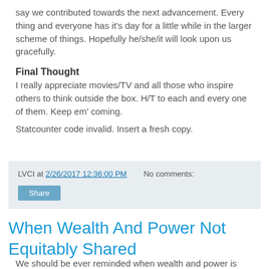say we contributed towards the next advancement. Every thing and everyone has it's day for a little while in the larger scheme of things. Hopefully he/she/it will look upon us gracefully.
Final Thought
I really appreciate movies/TV and all those who inspire others to think outside the box. H/T to each and every one of them. Keep em' coming.
Statcounter code invalid. Insert a fresh copy.
LVCI at 2/26/2017 12:36:00 PM   No comments:
Share
When Wealth And Power Not Equitably Shared
We should be ever reminded when wealth and power is